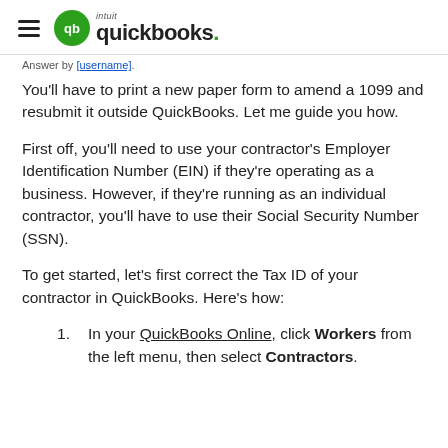QuickBooks (intuit quickbooks logo)
Answer by [username].
You'll have to print a new paper form to amend a 1099 and resubmit it outside QuickBooks. Let me guide you how.
First off, you'll need to use your contractor's Employer Identification Number (EIN) if they're operating as a business. However, if they're running as an individual contractor, you'll have to use their Social Security Number (SSN).
To get started, let's first correct the Tax ID of your contractor in QuickBooks. Here's how:
1. In your QuickBooks Online, click Workers from the left menu, then select Contractors.